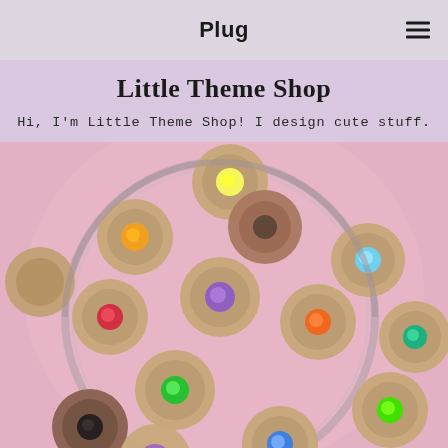Plug
Little Theme Shop
Hi, I'm Little Theme Shop! I design cute stuff.
[Figure (photo): Top-down photo of colored pencils arranged in a glass jar. Pencils visible with yellow, orange, purple, light blue, red, green, teal, black, and other colored tips on a pink background.]